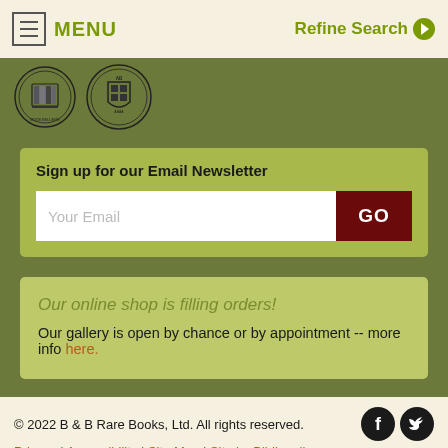MENU | Refine Search
[Figure (logo): Two circular/shield organization logos - ABAA and another booksellers association]
Sign up for our Email Newsletter
Your Email [input field] GO
Our online shop is filling orders!
Our gallery is open by chance or by appointment -- more info here.
© 2022 B & B Rare Books, Ltd. All rights reserved. Privacy | Accessibility | Site Map | Site by Bibliopolis